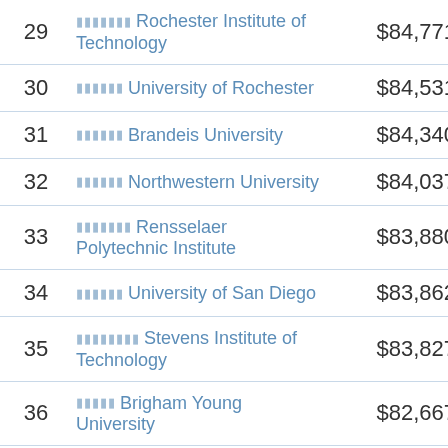| Rank | University | Salary |
| --- | --- | --- |
| 29 | Rochester Institute of Technology | $84,771 |
| 30 | University of Rochester | $84,531 |
| 31 | Brandeis University | $84,340 |
| 32 | Northwestern University | $84,037 |
| 33 | Rensselaer Polytechnic Institute | $83,880 |
| 34 | University of San Diego | $83,862 |
| 35 | Stevens Institute of Technology | $83,827 |
| 36 | Brigham Young University | $82,667 |
| 37 | Boston University | $82,237 |
| 38 | Seattle University | $82,122 |
| 39 | Clark University | $80,590 |
| 40 | Lehigh University | $80,252 |